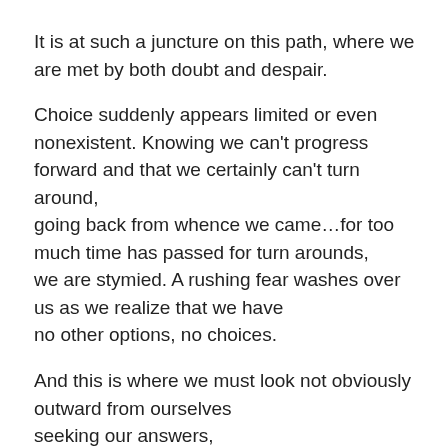It is at such a juncture on this path, where we are met by both doubt and despair.
Choice suddenly appears limited or even nonexistent. Knowing we can't progress forward and that we certainly can't turn around,
going back from whence we came…for too much time has passed for turn arounds,
we are stymied. A rushing fear washes over us as we realize that we have
no other options, no choices.
And this is where we must look not obviously outward from ourselves
seeking our answers,
but rather we must look inward…traveling deeply within ourselves.